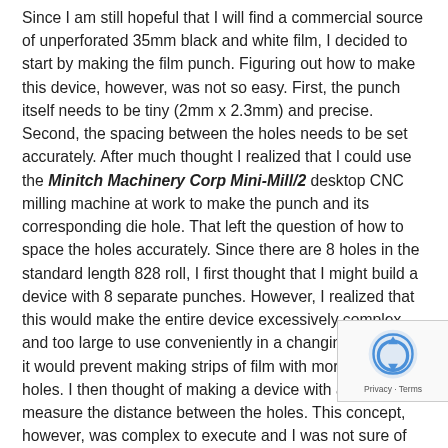Since I am still hopeful that I will find a commercial source of unperforated 35mm black and white film, I decided to start by making the film punch. Figuring out how to make this device, however, was not so easy. First, the punch itself needs to be tiny (2mm x 2.3mm) and precise. Second, the spacing between the holes needs to be set accurately. After much thought I realized that I could use the Minitch Machinery Corp Mini-Mill/2 desktop CNC milling machine at work to make the punch and its corresponding die hole. That left the question of how to space the holes accurately. Since there are 8 holes in the standard length 828 roll, I first thought that I might build a device with 8 separate punches. However, I realized that this would make the entire device excessively complex and too large to use conveniently in a changing bag, plus it would prevent making strips of film with more then 8 holes. I then thought of making a device with a wheel to measure the distance between the holes. This concept, however, was complex to execute and I was not sure of its accuracy. with the help of a close friend, I realized that after I pu the first hole, I could use a ball detent mechanism to place it
[Figure (other): reCAPTCHA badge with Privacy and Terms links]